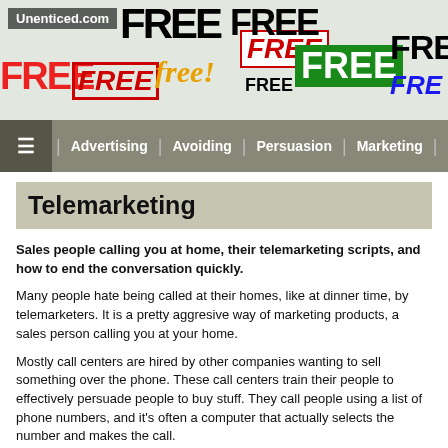[Figure (illustration): Website header banner for Unenticed.com showing a collage of various 'FREE' logos and text in different colors, fonts, and styles on a light green-grey background. A dark semi-transparent label reads 'Unenticed.com' in the top left.]
≡  | Advertising | Avoiding | Persuasion | Marketing |
Telemarketing
Sales people calling you at home, their telemarketing scripts, and how to end the conversation quickly.
Many people hate being called at their homes, like at dinner time, by telemarketers. It is a pretty aggresive way of marketing products, a sales person calling you at your home.
Mostly call centers are hired by other companies wanting to sell something over the phone. These call centers train their people to effectively persuade people to buy stuff. They call people using a list of phone numbers, and it's often a computer that actually selects the number and makes the call.
Telemarketing scripts